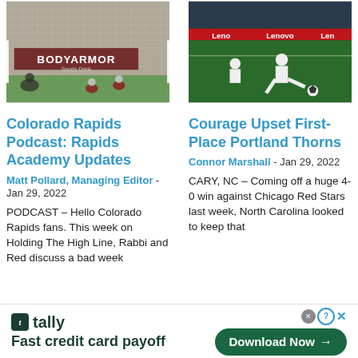[Figure (photo): Soccer/football match photo showing players near a goal with BODYARMOR Sports Drink signage in the background]
[Figure (photo): Soccer player kicking a ball on a field with Lenovo advertising boards in the background]
Colorado Rapids Podcast: Rapids Academy Updates
Matt Pollard, Managing Editor - Jan 29, 2022
PODCAST – Hello Colorado Rapids fans. This week on Holding The High Line, Rabbi and Red discuss a bad week
Courage Upset First-Place Portland Thorns
Connor Marshall - Jan 29, 2022
CARY, NC – Coming off a huge 4-0 win against Chicago Red Stars last week, North Carolina looked to keep that
[Figure (screenshot): Tally app advertisement banner: Fast credit card payoff with Download Now button]